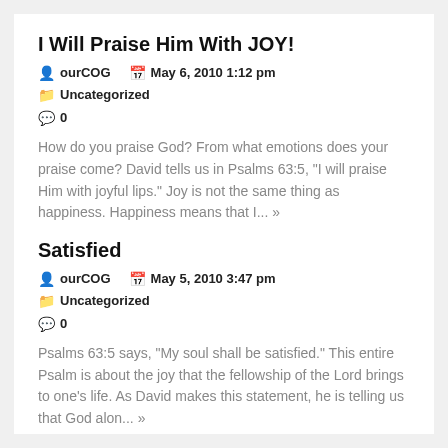I Will Praise Him With JOY!
ourCOG   May 6, 2010 1:12 pm   Uncategorized   0
How do you praise God? From what emotions does your praise come? David tells us in Psalms 63:5, "I will praise Him with joyful lips." Joy is not the same thing as happiness. Happiness means that I... »
Satisfied
ourCOG   May 5, 2010 3:47 pm   Uncategorized   0
Psalms 63:5 says, "My soul shall be satisfied." This entire Psalm is about the joy that the fellowship of the Lord brings to one's life. As David makes this statement, he is telling us that God alon... »
IronLeader Challenge
ourCOG   May 4, 2010 4:10 pm   #ourCOG   0